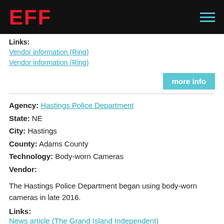EFF
Links:
Vendor information (Ring)
Vendor information (Ring)
more info
Agency: Hastings Police Department
State: NE
City: Hastings
County: Adams County
Technology: Body-worn Cameras
Vendor:
The Hastings Police Department began using body-worn cameras in late 2016.
Links:
News article (The Grand Island Independent)
more info